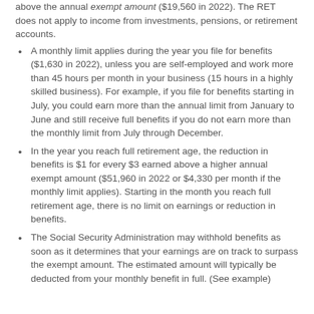above the annual exempt amount ($19,560 in 2022). The RET does not apply to income from investments, pensions, or retirement accounts.
A monthly limit applies during the year you file for benefits ($1,630 in 2022), unless you are self-employed and work more than 45 hours per month in your business (15 hours in a highly skilled business). For example, if you file for benefits starting in July, you could earn more than the annual limit from January to June and still receive full benefits if you do not earn more than the monthly limit from July through December.
In the year you reach full retirement age, the reduction in benefits is $1 for every $3 earned above a higher annual exempt amount ($51,960 in 2022 or $4,330 per month if the monthly limit applies). Starting in the month you reach full retirement age, there is no limit on earnings or reduction in benefits.
The Social Security Administration may withhold benefits as soon as it determines that your earnings are on track to surpass the exempt amount. The estimated amount will typically be deducted from your monthly benefit in full. (See example)